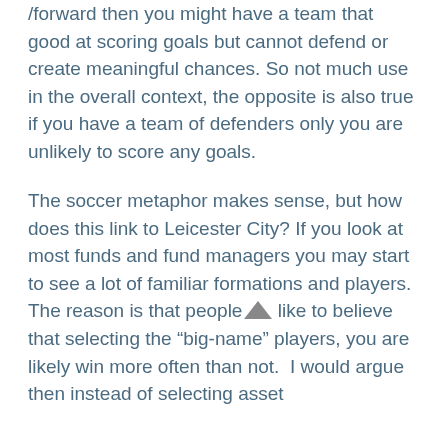/forward then you might have a team that good at scoring goals but cannot defend or create meaningful chances. So not much use in the overall context, the opposite is also true if you have a team of defenders only you are unlikely to score any goals.
The soccer metaphor makes sense, but how does this link to Leicester City? If you look at most funds and fund managers you may start to see a lot of familiar formations and players.  The reason is that people like to believe that selecting the “big-name” players, you are likely win more often than not.  I would argue then instead of selecting asset